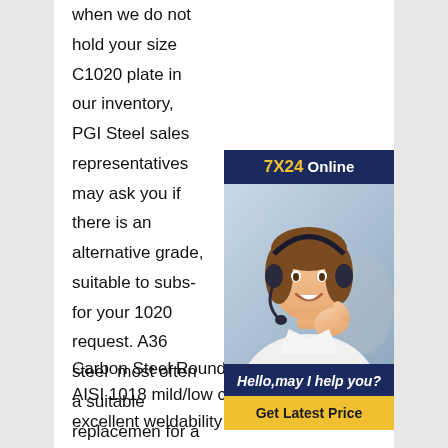when we do not hold your size C1020 plate in our inventory, PGI Steel sales representatives may ask you if there is an alternative grade, suitable to substitute for your 1020 request. A36 steel is most often a suitable replacement for a 1020 specification.1020 Steel Precision Grinding, Inc. Carbon Round Bar Manufacturers Supply Saaj AISI 1020 structural mild carbon steel plate for road building
[Figure (illustration): Customer service chat widget with '7X24 Online' header, photo of woman with headset, 'Hello,may I help you?' message, and 'Get Latest Price' button]
Carbon Steel Round Bar SAE/AISI 1018 AISI 1018 mild/low carbon steel has excellent weldability and produces a